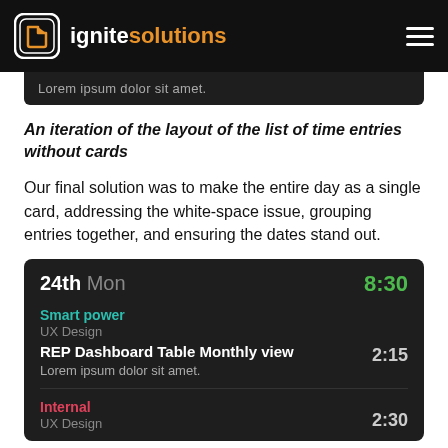ignite solutions
[Figure (screenshot): Partial dark UI screenshot showing text 'Lorem ipsum dolor sit amet.']
An iteration of the layout of the list of time entries without cards
Our final solution was to make the entire day as a single card, addressing the white-space issue, grouping entries together, and ensuring the dates stand out.
[Figure (screenshot): Dark mobile UI showing a time entry card for 24th Mon with total 8:30. Smart power / UX Design entry with REP Dashboard Table Monthly view task (2:15) and Lorem ipsum dolor sit amet description. Internal / UX Design entry with time 2:30.]